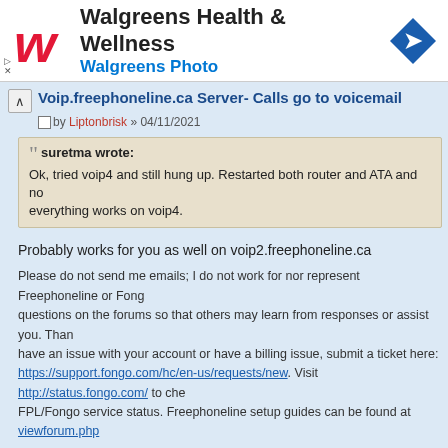[Figure (screenshot): Walgreens Health & Wellness advertisement banner with Walgreens logo, text 'Walgreens Health & Wellness' and 'Walgreens Photo', and a navigation icon]
Voip.freephoneline.ca Server- Calls go to voicemail
by Liptonbrisk » 04/11/2021
suretma wrote: Ok, tried voip4 and still hung up. Restarted both router and ATA and now everything works on voip4.
Probably works for you as well on voip2.freephoneline.ca
Please do not send me emails; I do not work for nor represent Freephoneline or Fongo, questions on the forums so that others may learn from responses or assist you. Thank have an issue with your account or have a billing issue, submit a ticket here: https://support.fongo.com/hc/en-us/requests/new. Visit http://status.fongo.com/ to check FPL/Fongo service status. Freephoneline setup guides can be found at viewforum.php
Re: Voip.freephoneline.ca Server- Calls go to voicemail
by lermure » 04/11/2021